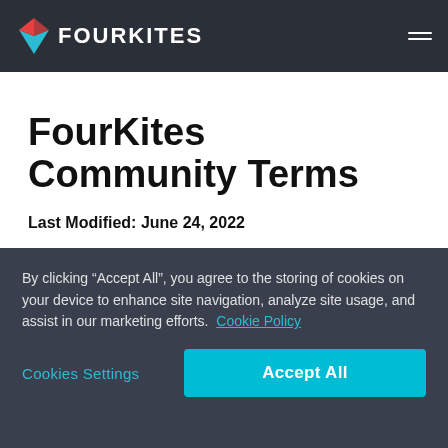FOURKITES
FourKites Community Terms
Last Modified: June 24, 2022
Acceptance of the FourKites
By clicking “Accept All”, you agree to the storing of cookies on your device to enhance site navigation, analyze site usage, and assist in our marketing efforts.  Cookie Policy
Cookies Settings    Accept All